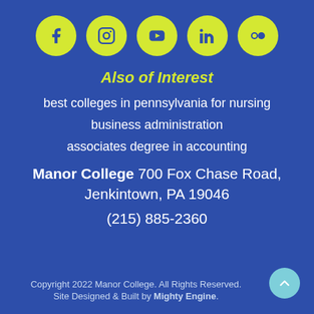[Figure (other): Five yellow circular social media icons: Facebook, Instagram, YouTube, LinkedIn, Flickr]
Also of Interest
best colleges in pennsylvania for nursing
business administration
associates degree in accounting
Manor College 700 Fox Chase Road, Jenkintown, PA 19046
(215) 885-2360
Copyright 2022 Manor College. All Rights Reserved.
Site Designed & Built by Mighty Engine.